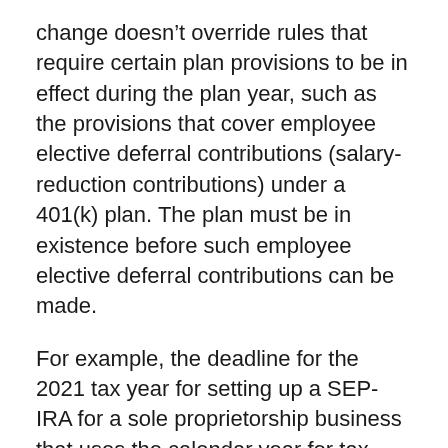change doesn't override rules that require certain plan provisions to be in effect during the plan year, such as the provisions that cover employee elective deferral contributions (salary-reduction contributions) under a 401(k) plan. The plan must be in existence before such employee elective deferral contributions can be made.
For example, the deadline for the 2021 tax year for setting up a SEP-IRA for a sole proprietorship business that uses the calendar year for tax purposes is October 17, 2022, if you extend your 2021 tax return. The deadline for making the contribution for the 2021 tax year is also October 17, 2022. However, to make a SIMPLE-IRA contribution for the 2021 tax year,